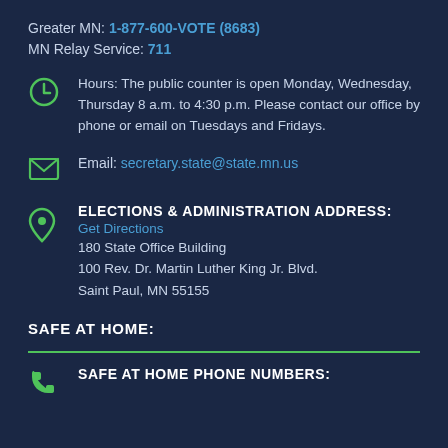Greater MN: 1-877-600-VOTE (8683)
MN Relay Service: 711
Hours: The public counter is open Monday, Wednesday, Thursday 8 a.m. to 4:30 p.m. Please contact our office by phone or email on Tuesdays and Fridays.
Email: secretary.state@state.mn.us
ELECTIONS & ADMINISTRATION ADDRESS:
Get Directions
180 State Office Building
100 Rev. Dr. Martin Luther King Jr. Blvd.
Saint Paul, MN 55155
SAFE AT HOME:
SAFE AT HOME PHONE NUMBERS: